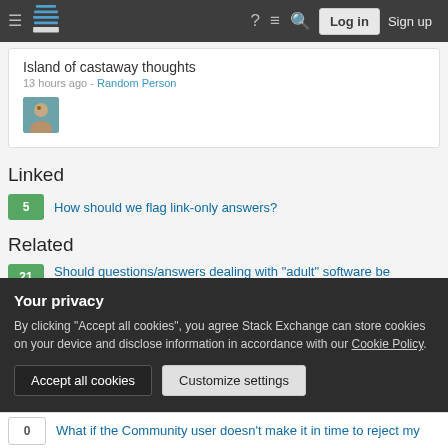Stack Exchange navigation bar with Log in and Sign up buttons
Island of castaway thoughts
13 hours ago - Random Person
[Figure (photo): Small user avatar thumbnail showing a person's face]
Linked
5  How should we flag link-only answers?
Related
21  Should questions/answers dealing with "adult" software be...
Your privacy
By clicking "Accept all cookies", you agree Stack Exchange can store cookies on your device and disclose information in accordance with our Cookie Policy.
Accept all cookies    Customize settings
0  What if the Community user doesn't make it in time to reject my